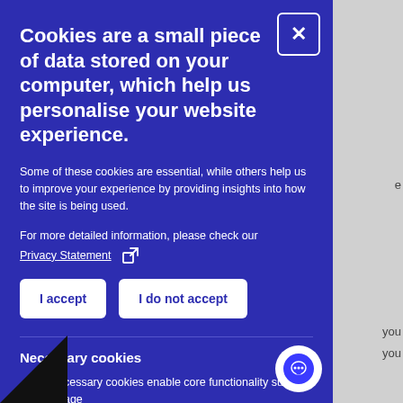Cookies are a small piece of data stored on your computer, which help us personalise your website experience.
Some of these cookies are essential, while others help us to improve your experience by providing insights into how the site is being used.
For more detailed information, please check our Privacy Statement
I accept
I do not accept
Necessary cookies
ecessary cookies enable core functionality such as page n and access to secure areas. The website cannot